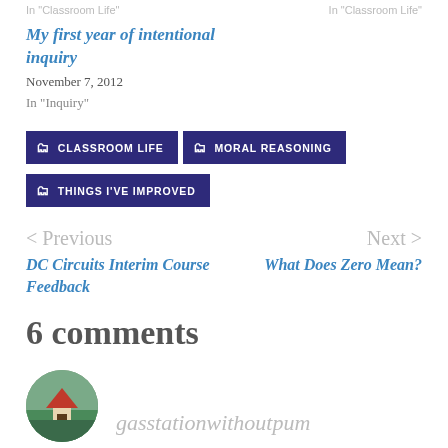In "Classroom Life"   In "Classroom Life"
My first year of intentional inquiry
November 7, 2012
In "Inquiry"
CLASSROOM LIFE
MORAL REASONING
THINGS I'VE IMPROVED
< Previous
Next >
DC Circuits Interim Course Feedback
What Does Zero Mean?
6 comments
gasstationwithoutpum